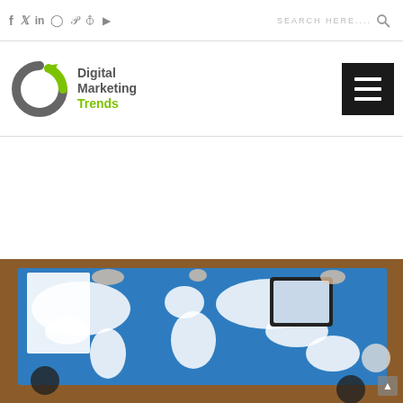Social icons: f, Twitter, in, Instagram, Pinterest, RSS, YouTube | Search here...
[Figure (logo): Digital Marketing Trends logo with circular arrow icon in grey and green]
[Figure (photo): Overhead view of business people around a table with a world map, tablet, papers, and coffee cups]